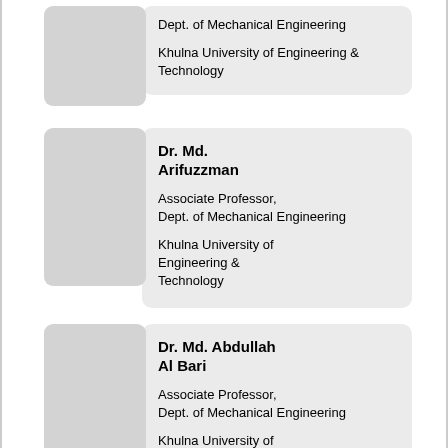[Figure (other): Card with photo placeholder (partial top visible): Dept. of Mechanical Engineering, Khulna University of Engineering & Technology]
Dept. of Mechanical Engineering
Khulna University of Engineering & Technology
[Figure (other): Card with photo placeholder: Dr. Md. Arifuzzman, Associate Professor, Dept. of Mechanical Engineering, Khulna University of Engineering & Technology]
Dr. Md. Arifuzzman
Associate Professor, Dept. of Mechanical Engineering
Khulna University of Engineering & Technology
[Figure (other): Card with photo placeholder: Dr. Md. Abdullah Al Bari, Associate Professor, Dept. of Mechanical Engineering, Khulna University of Engineering & Technology]
Dr. Md. Abdullah Al Bari
Associate Professor, Dept. of Mechanical Engineering
Khulna University of Engineering & Technology
[Figure (other): Card with photo placeholder (partial bottom): Dr. Md. Rafiquzzaman]
Dr. Md. Rafiquzzaman